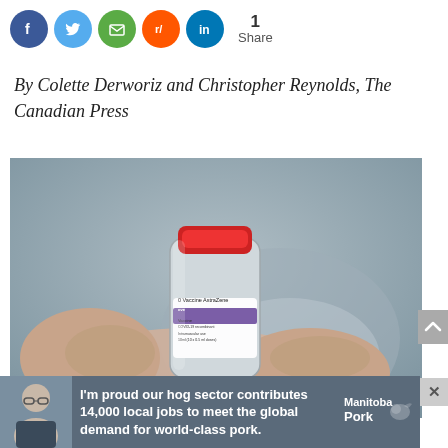[Figure (infographic): Social media share icons: Facebook (blue), Twitter (light blue), Email (green), Reddit (orange), LinkedIn (blue), with share count '1 Share']
By Colette Derworiz and Christopher Reynolds, The Canadian Press
[Figure (photo): A gloved hand holding a small vial of AstraZeneca COVID-19 vaccine with a red cap, blurred medical background]
[Figure (infographic): Advertisement banner: 'I'm proud our hog sector contributes 14,000 local jobs to meet the global demand for world-class pork.' Manitoba Pork logo with person photo]